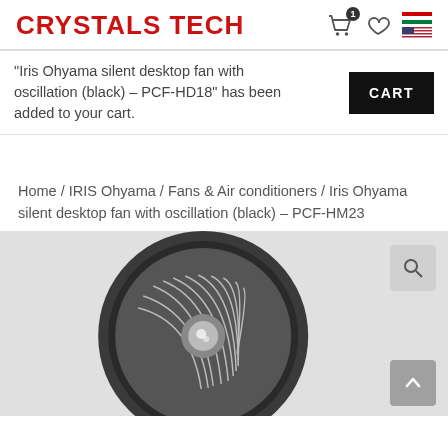CRYSTALS TECH
"Iris Ohyama silent desktop fan with oscillation (black) – PCF-HD18" has been added to your cart.
Home / IRIS Ohyama / Fans & Air conditioners / Iris Ohyama silent desktop fan with oscillation (black) – PCF-HM23
[Figure (photo): Close-up photo of a black circular desktop fan (Iris Ohyama PCF-HM23) showing the fan grille and blades from the front]